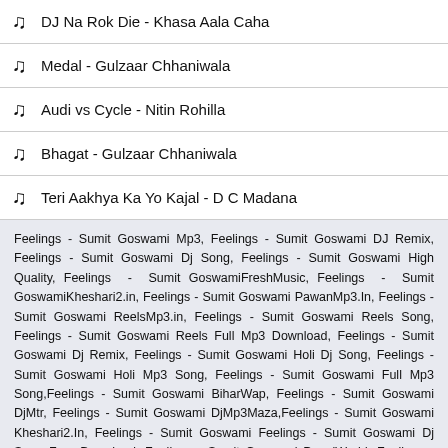DJ Na Rok Die - Khasa Aala Caha
Medal - Gulzaar Chhaniwala
Audi vs Cycle - Nitin Rohilla
Bhagat - Gulzaar Chhaniwala
Teri Aakhya Ka Yo Kajal - D C Madana
Feelings - Sumit Goswami Mp3, Feelings - Sumit Goswami DJ Remix, Feelings - Sumit Goswami Dj Song, Feelings - Sumit Goswami High Quality, Feelings - Sumit GoswamiFreshMusic, Feelings - Sumit GoswamiKheshari2.in, Feelings - Sumit Goswami PawanMp3.In, Feelings - Sumit Goswami ReelsMp3.in, Feelings - Sumit Goswami Reels Song, Feelings - Sumit Goswami Reels Full Mp3 Download, Feelings - Sumit Goswami Dj Remix, Feelings - Sumit Goswami Holi Dj Song, Feelings - Sumit Goswami Holi Mp3 Song, Feelings - Sumit Goswami Full Mp3 Song,Feelings - Sumit Goswami BiharWap, Feelings - Sumit Goswami DjMtr, Feelings - Sumit Goswami DjMp3Maza,Feelings - Sumit Goswami Kheshari2.In, Feelings - Sumit Goswami Feelings - Sumit Goswami Dj Song Free Download, Feelings - Sumit Goswami PagalWorld, Feelings - Sumit Goswami Mp3 Download, Feelings - Sumit Goswami DjMp3Maza.Com, DjMp3Maza, Dj Mp3 Maza All In One Mp3 Song Downloading Portal, FlpDuniya, FlpDuniya.Com, DjFlpduniya - All In One Mp3 Song, DjShivaClub, DjShivaClub.Co, Dj Shiva Club - All In One Mp3 Song Downloading From DjShivaClub, DjAmanPbh, DjAmanPbh.Com,